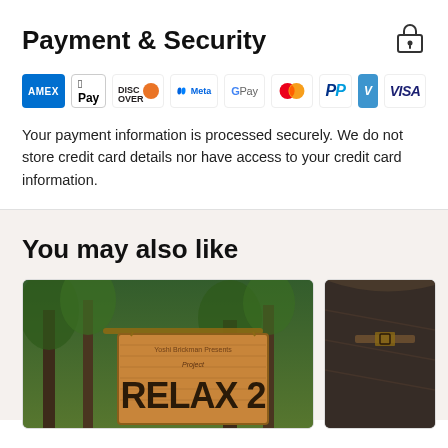Payment & Security
[Figure (logo): Lock/security icon]
[Figure (infographic): Payment method logos: AMEX, Apple Pay, Discover, Meta Pay, Google Pay, Mastercard, PayPal, Venmo, Visa]
Your payment information is processed securely. We do not store credit card details nor have access to your credit card information.
You may also like
[Figure (photo): Product photo showing a wooden sign reading 'RELAX 2' in a forest/outdoor setting]
[Figure (photo): Partial product photo showing what appears to be a dark leather item]